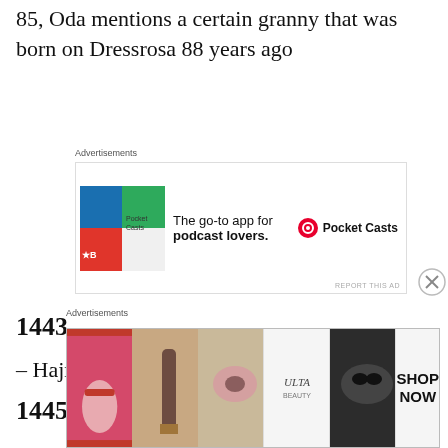85, Oda mentions a certain granny that was born on Dressrosa 88 years ago
[Figure (other): Advertisement banner for Pocket Casts app: colorful tile logo on left, text 'The go-to app for podcast lovers.' and Pocket Casts logo on right]
1443
– Hajrudin is born: SBS Vol 83
1445-1446-1447-1448
[Figure (other): Advertisement banner for Ulta Beauty: collage of makeup/cosmetics photos with SHOP NOW call to action]